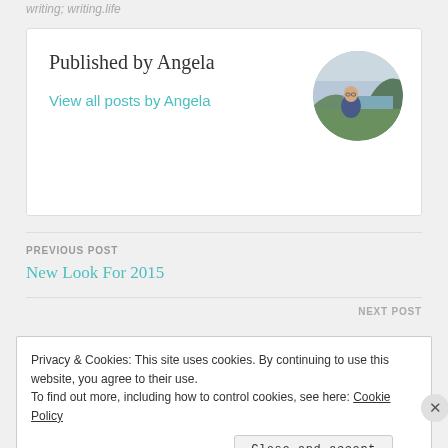writing; writing.life
Published by Angela
View all posts by Angela
[Figure (photo): Circular avatar photo of Angela, a woman with glasses outdoors near coastal cliffs with green grass and sea in background]
PREVIOUS POST
New Look For 2015
NEXT POST
Privacy & Cookies: This site uses cookies. By continuing to use this website, you agree to their use.
To find out more, including how to control cookies, see here: Cookie Policy
Close and accept